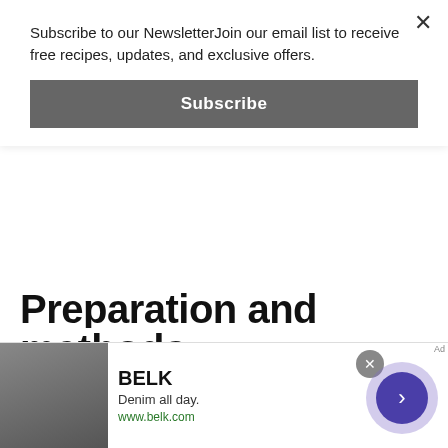Subscribe to our NewsletterJoin our email list to receive free recipes, updates, and exclusive offers.
Subscribe
Preparation and serving methods:
To Clean Zucchini Flowers, wash them thoroughly in cold, running water just before cooking. Sometimes the fruits may require light scrub at places where prickles or dirt are attached firmly. Trim the neck and bases. Peeling of skin is not
[Figure (infographic): BELK advertisement banner at the bottom of the page. Shows 'Denim all day.' tagline, www.belk.com URL, and navigation arrow button.]